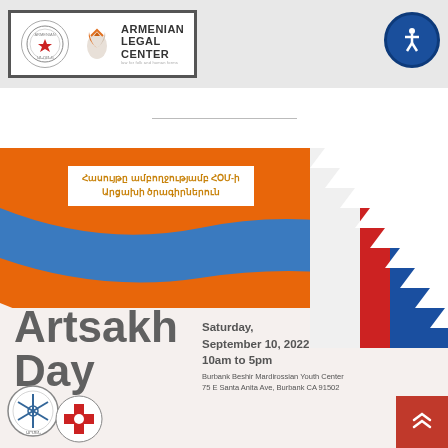[Figure (logo): Page header bar with Armenian organization seal logo and Armenian Legal Center logo with orange flame/leaf icon, plus blue accessibility icon button]
[Figure (illustration): Horizontal divider line in white space between header and poster]
[Figure (infographic): Artsakh Day event poster with orange/blue/red Armenian flag wave design, Armenian text banner reading 'Հասույթը ամբողջությամբ ՀՕՄ-ի Արցախի ծրագիրներուն', large 'Artsakh Day' text, event details: Saturday September 10 2022 10am to 5pm, Burbank Beshir Mardirossian Youth Center, 75 E Santa Anita Ave Burbank CA 91502, organization logos at bottom left, red scroll button bottom right]